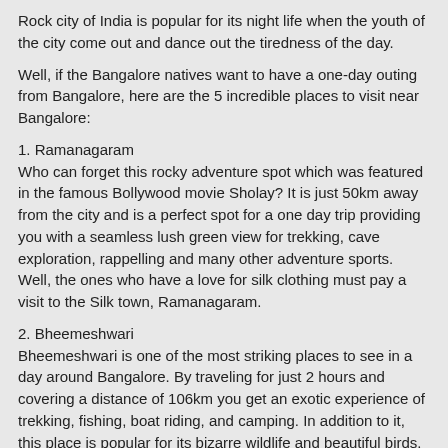Rock city of India is popular for its night life when the youth of the city come out and dance out the tiredness of the day.
Well, if the Bangalore natives want to have a one-day outing from Bangalore, here are the 5 incredible places to visit near Bangalore:
1. Ramanagaram
Who can forget this rocky adventure spot which was featured in the famous Bollywood movie Sholay? It is just 50km away from the city and is a perfect spot for a one day trip providing you with a seamless lush green view for trekking, cave exploration, rappelling and many other adventure sports. Well, the ones who have a love for silk clothing must pay a visit to the Silk town, Ramanagaram.
2. Bheemeshwari
Bheemeshwari is one of the most striking places to see in a day around Bangalore. By traveling for just 2 hours and covering a distance of 106km you get an exotic experience of trekking, fishing, boat riding, and camping. In addition to it, this place is popular for its bizarre wildlife and beautiful birds.
3. Nandi Hills
Drive through an amazing view via NH7 and reach a peaceful